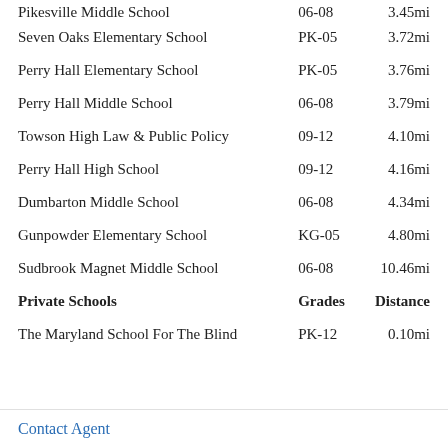| School | Grades | Distance |
| --- | --- | --- |
| Pikesville Middle School | 06-08 | 3.45mi |
| Seven Oaks Elementary School | PK-05 | 3.72mi |
| Perry Hall Elementary School | PK-05 | 3.76mi |
| Perry Hall Middle School | 06-08 | 3.79mi |
| Towson High Law & Public Policy | 09-12 | 4.10mi |
| Perry Hall High School | 09-12 | 4.16mi |
| Dumbarton Middle School | 06-08 | 4.34mi |
| Gunpowder Elementary School | KG-05 | 4.80mi |
| Sudbrook Magnet Middle School | 06-08 | 10.46mi |
| Private Schools | Grades | Distance |
| The Maryland School For The Blind | PK-12 | 0.10mi |
Contact Agent